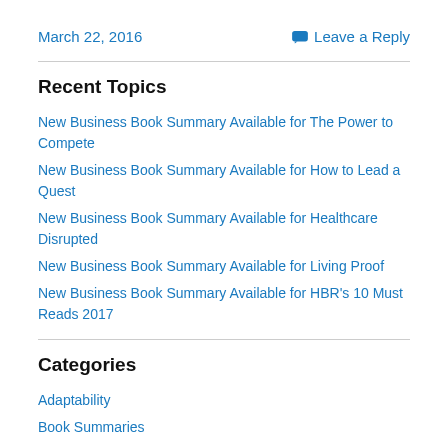March 22, 2016   Leave a Reply
Recent Topics
New Business Book Summary Available for The Power to Compete
New Business Book Summary Available for How to Lead a Quest
New Business Book Summary Available for Healthcare Disrupted
New Business Book Summary Available for Living Proof
New Business Book Summary Available for HBR's 10 Must Reads 2017
Categories
Adaptability
Book Summaries
Business Strategy
Career Development